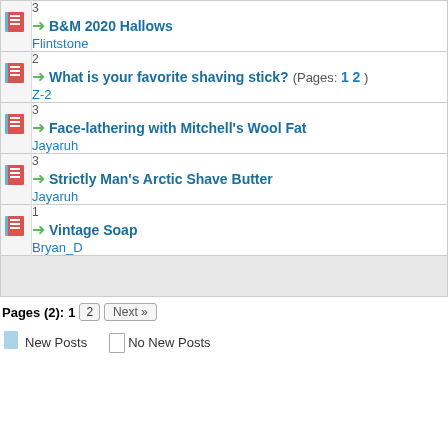3 B&M 2020 Hallows Flintstone
2 What is your favorite shaving stick? (Pages: 1 2) Z-2
3 Face-lathering with Mitchell's Wool Fat Jayaruh
3 Strictly Man's Arctic Shave Butter Jayaruh
1 Vintage Soap Bryan_D
Pages (2): 1 2 Next »
New Posts    No New Posts